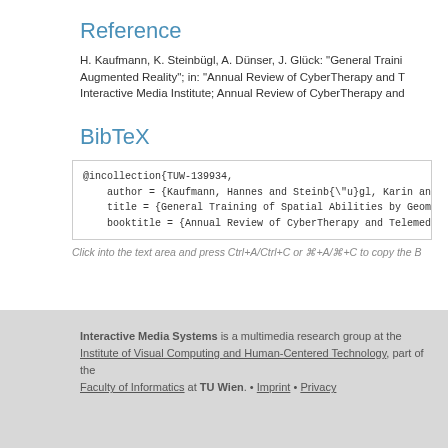Reference
H. Kaufmann, K. Steinbügl, A. Dünser, J. Glück: "General Traini... Augmented Reality"; in: "Annual Review of CyberTherapy and T... Interactive Media Institute; Annual Review of CyberTherapy and...
BibTeX
@incollection{TUW-139934,
    author = {Kaufmann, Hannes and Steinb{\"u}gl, Karin and ...
    title = {General Training of Spatial Abilities by Geomet...
    booktitle = {Annual Review of CyberTherapy and Telemedi...
Click into the text area and press Ctrl+A/Ctrl+C or ⌘+A/⌘+C to copy the B...
Interactive Media Systems is a multimedia research group at the Institute of Visual Computing and Human-Centered Technology, part of the Faculty of Informatics at TU Wien. • Imprint • Privacy